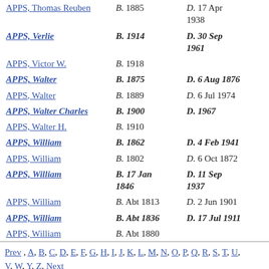| Name | Birth | Death |
| --- | --- | --- |
| APPS, Thomas Reuben | B. 1885 | D. 17 Apr 1938 |
| APPS, Verlie | B. 1914 | D. 30 Sep 1961 |
| APPS, Victor W. | B. 1918 |  |
| APPS, Walter | B. 1875 | D. 6 Aug 1876 |
| APPS, Walter | B. 1889 | D. 6 Jul 1974 |
| APPS, Walter Charles | B. 1900 | D. 1967 |
| APPS, Walter H. | B. 1910 |  |
| APPS, William | B. 1862 | D. 4 Feb 1941 |
| APPS, William | B. 1802 | D. 6 Oct 1872 |
| APPS, William | B. 17 Jan 1846 | D. 11 Sep 1937 |
| APPS, William | B. Abt 1813 | D. 2 Jun 1901 |
| APPS, William | B. Abt 1836 | D. 17 Jul 1911 |
| APPS, William | B. Abt 1880 |  |
Prev , A, B, C, D, E, F, G, H, I, J, K, L, M, N, O, P, Q, R, S, T, U, V, W, Y, Z, Next
Go To List Of Surnames
Go To Home Page
For further information email: warwick dot mccall at gmail dot com · Please do not link to these pages · warwick mccall dot info